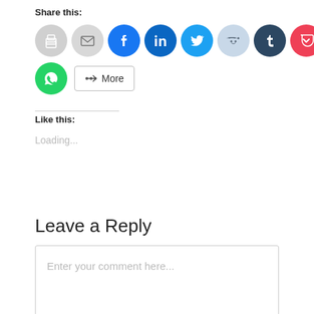Share this:
[Figure (infographic): Row of social share icon buttons: print (gray), email (gray), Facebook (blue), LinkedIn (dark blue), Twitter (light blue), Reddit (light blue-gray), Tumblr (dark navy), Pocket (red), Pinterest (dark red)]
[Figure (infographic): WhatsApp icon (green circle) and a More button with share icon]
Like this:
Loading...
Leave a Reply
Enter your comment here...